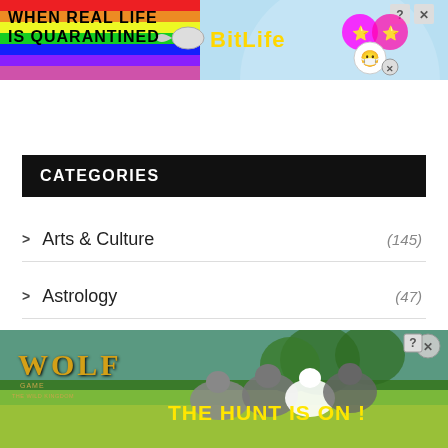[Figure (screenshot): BitLife app advertisement banner - rainbow colored with text 'WHEN REAL LIFE IS QUARANTINED' and BitLife logo with mask emoji icons]
CATEGORIES
> Arts & Culture (145)
> Astrology (47)
> Boro (partially visible, cut off)
[Figure (screenshot): Wolf Game: The Wild Kingdom advertisement banner - wolves running in field with text 'THE HUNT IS ON!']